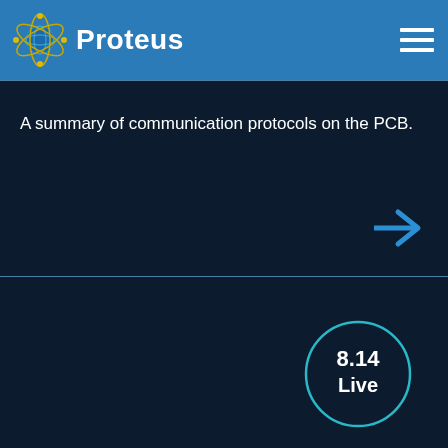[Figure (logo): Proteus software logo with atom/globe icon and 'Proteus' text in white on blue header bar, with hamburger menu icon on right]
A summary of communication protocols on the PCB.
[Figure (other): Blue right arrow navigation icon]
[Figure (other): Circular badge with cyan border showing '8.14 Live' version information]